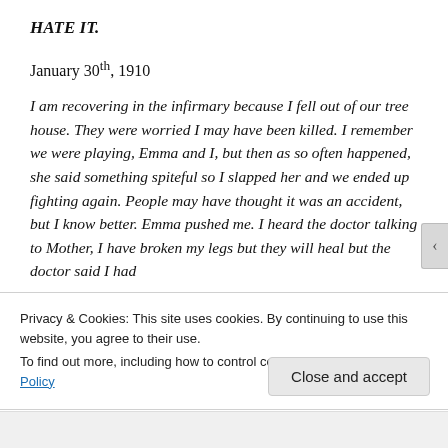HATE IT.
January 30th, 1910
I am recovering in the infirmary because I fell out of our tree house. They were worried I may have been killed. I remember we were playing, Emma and I, but then as so often happened, she said something spiteful so I slapped her and we ended up fighting again. People may have thought it was an accident, but I know better. Emma pushed me. I heard the doctor talking to Mother, I have broken my legs but they will heal but the doctor said I had
Privacy & Cookies: This site uses cookies. By continuing to use this website, you agree to their use.
To find out more, including how to control cookies, see here: Cookie Policy